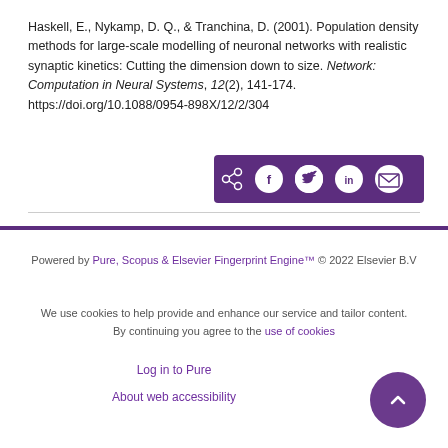Haskell, E., Nykamp, D. Q., & Tranchina, D. (2001). Population density methods for large-scale modelling of neuronal networks with realistic synaptic kinetics: Cutting the dimension down to size. Network: Computation in Neural Systems, 12(2), 141-174. https://doi.org/10.1088/0954-898X/12/2/304
[Figure (other): Share bar with icons for share, Facebook, Twitter, LinkedIn, and email on a purple background]
Powered by Pure, Scopus & Elsevier Fingerprint Engine™ © 2022 Elsevier B.V
We use cookies to help provide and enhance our service and tailor content. By continuing you agree to the use of cookies
Log in to Pure
About web accessibility